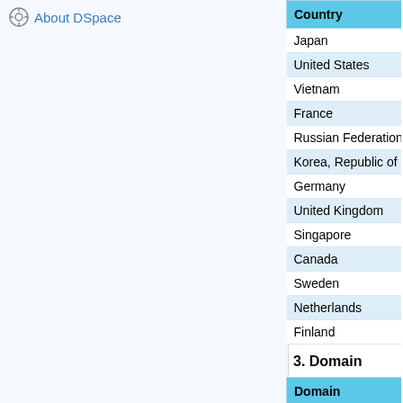About DSpace
| Country | Views | Downloads |
| --- | --- | --- |
| Japan | 95 |  |
| United States | 181 |  |
| Vietnam | 1 |  |
| France | 43 |  |
| Russian Federation | 0 |  |
| Korea, Republic of | 1 |  |
| Germany | 34 |  |
| United Kingdom | 25 |  |
| Singapore | 12 |  |
| Canada | 12 |  |
| Sweden | 2 |  |
| Netherlands | 2 |  |
| Finland | 2 |  |
3. Domain
| Domain | Views | Downloads |
| --- | --- | --- |
| googlebot.com | 54 |  |
| unknown | 21 |  |
| au-net.ne.jp | 3 |  |